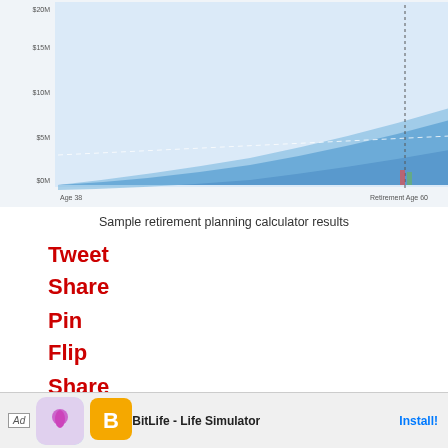[Figure (screenshot): Sample retirement planning calculator chart showing projected portfolio growth curve from Age 38 to Age 73, with Retirement Age 60 marked, and a bar chart comparing Projected vs Desired values. Y-axis shows values from $0M to $20M. Includes a note about inflation adjustment assuming 7.5% annual return and 10.9% annual standard deviation.]
Sample retirement planning calculator results
Tweet
Share
Pin
Flip
Share
[Figure (photo): Book advertisement: THE INSTANT BESTSELLER BY THE FINANCIAL SAMURAI AKA SAM DOGEN - BUY THIS, NOT THAT - ON SALE NOW]
[Figure (screenshot): Mobile app advertisement banner: Ad | BitLife - Life Simulator | Install!]